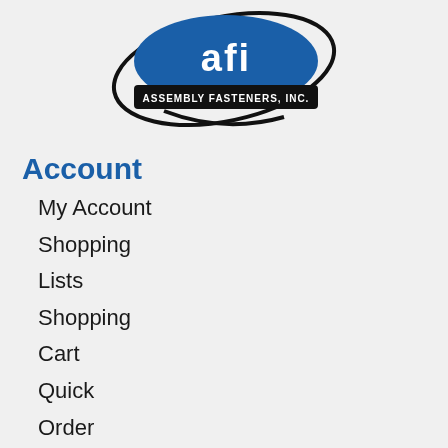[Figure (logo): Assembly Fasteners, Inc. logo — blue oval with 'afi' letters and black banner reading 'ASSEMBLY FASTENERS, INC.']
Account
My Account
Shopping
Lists
Shopping
Cart
Quick
Order
Quick Links